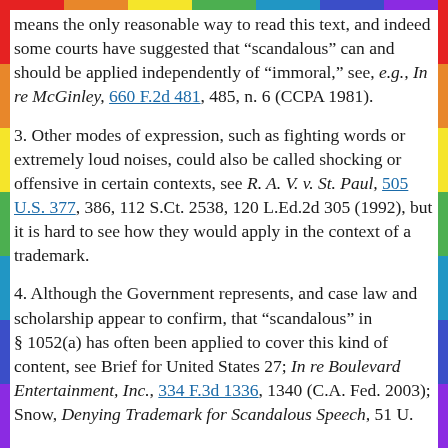means the only reasonable way to read this text, and indeed some courts have suggested that "scandalous" can and should be applied independently of "immoral," see, e.g., In re McGinley, 660 F.2d 481, 485, n. 6 (CCPA 1981).
3. Other modes of expression, such as fighting words or extremely loud noises, could also be called shocking or offensive in certain contexts, see R. A. V. v. St. Paul, 505 U.S. 377, 386, 112 S.Ct. 2538, 120 L.Ed.2d 305 (1992), but it is hard to see how they would apply in the context of a trademark.
4. Although the Government represents, and case law and scholarship appear to confirm, that "scandalous" in § 1052(a) has often been applied to cover this kind of content, see Brief for United States 27; In re Boulevard Entertainment, Inc., 334 F.3d 1336, 1340 (C.A. Fed. 2003); Snow, Denying Trademark for Scandalous Speech, 51 U.